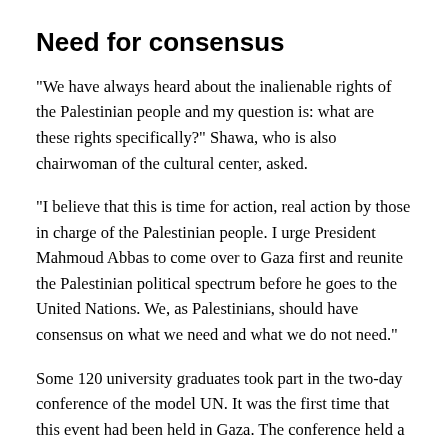Need for consensus
“We have always heard about the inalienable rights of the Palestinian people and my question is: what are these rights specifically?” Shawa, who is also chairwoman of the cultural center, asked.
“I believe that this is time for action, real action by those in charge of the Palestinian people. I urge President Mahmoud Abbas to come over to Gaza first and reunite the Palestinian political spectrum before he goes to the United Nations. We, as Palestinians, should have consensus on what we need and what we do not need.”
Some 120 university graduates took part in the two-day conference of the model UN. It was the first time that this event had been held in Gaza. The conference held a symbolic vote, at which most of the participants expressed their support for Palestine becoming a member of the UN.